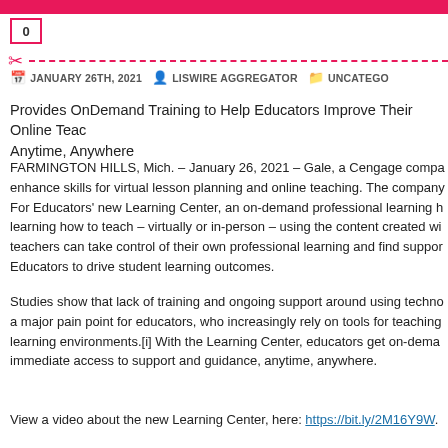0
JANUARY 26TH, 2021   LISWIRE AGGREGATOR   UNCATEGO...
Provides OnDemand Training to Help Educators Improve Their Online Teac... Anytime, Anywhere
FARMINGTON HILLS, Mich. – January 26, 2021 – Gale, a Cengage compa... enhance skills for virtual lesson planning and online teaching. The company... For Educators' new Learning Center, an on-demand professional learning h... learning how to teach – virtually or in-person – using the content created wi... teachers can take control of their own professional learning and find suppor... Educators to drive student learning outcomes.
Studies show that lack of training and ongoing support around using techno... a major pain point for educators, who increasingly rely on tools for teaching... learning environments.[i] With the Learning Center, educators get on-dema... immediate access to support and guidance, anytime, anywhere.
View a video about the new Learning Center, here: https://bit.ly/2M16Y9W.